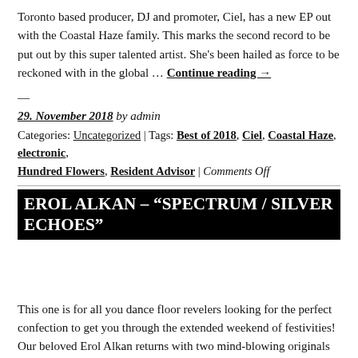Toronto based producer, DJ and promoter, Ciel, has a new EP out with the Coastal Haze family. This marks the second record to be put out by this super talented artist. She's been hailed as force to be reckoned with in the global … Continue reading →
—
29. November 2018 by admin
Categories: Uncategorized | Tags: Best of 2018, Ciel, Coastal Haze, electronic, Hundred Flowers, Resident Advisor | Comments Off
EROL ALKAN – "SPECTRUM / SILVER ECHOES"
This one is for all you dance floor revelers looking for the perfect confection to get you through the extended weekend of festivities! Our beloved Erol Alkan returns with two mind-blowing originals that showcase different sides to Erol's current approach to … Continue reading →